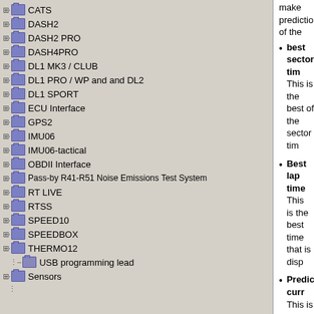CATS
DASH2
DASH2 PRO
DASH4PRO
DL1 MK3 / CLUB
DL1 PRO / WP and and DL2
DL1 SPORT
ECU Interface
GPS2
IMU06
IMU06-tactical
OBDII Interface
Pass-by R41-R51 Noise Emissions Test System
RT LIVE
RTSS
SPEED10
SPEEDBOX
THERMO12
USB programming lead
Sensors
make predictions of the
best sector tim
This is the best of the sector tim
Best lap time
This is the best time that is disp
Predictive curr
This is not supp
Predictive curr
This is not supp
Number of the
This is the lap n
Number of the
This is reset to passed.
Best sector de
This is the diffe the current run
Best lap delta